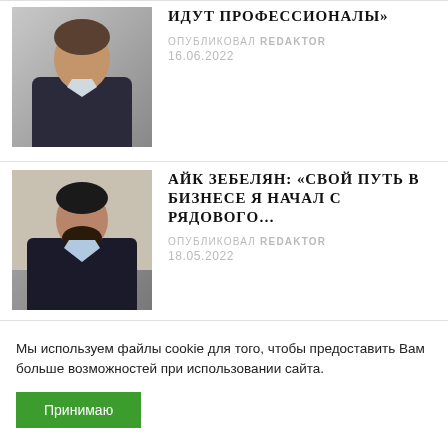[Figure (photo): Man in dark suit, side profile, curly hair and beard]
ИДУТ ПРОФЕССИОНАЛЫ»
ОПУБЛИКОВАЛ REDAKTOR
16.06.2022
[Figure (photo): Man in dark suit, standing, beard]
АЙК ЗЕБЕЛЯН: «СВОЙ ПУТЬ В БИЗНЕСЕ Я НАЧАЛ С РЯДОВОГО…
ОПУБЛИКОВАЛ REDAKTOR
18.05.2022
Мы используем файлы cookie для того, чтобы предоставить Вам больше возможностей при использовании сайта.
Принимаю